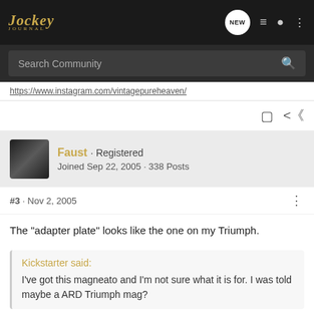Jockey Journal — NEW [nav icons]
Search Community
https://www.instagram.com/vintagepureheaven/
Faust · Registered
Joined Sep 22, 2005 · 338 Posts
#3 · Nov 2, 2005
The "adapter plate" looks like the one on my Triumph.
Kickstarter said:
I've got this magneato and I'm not sure what it is for. I was told maybe a ARD Triumph mag?